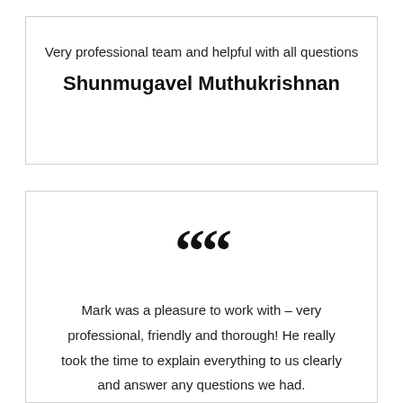Very professional team and helpful with all questions
Shunmugavel Muthukrishnan
Mark was a pleasure to work with – very professional, friendly and thorough! He really took the time to explain everything to us clearly and answer any questions we had.